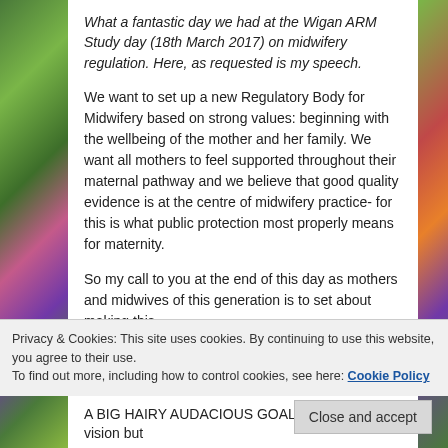What a fantastic day we had at the Wigan ARM Study day (18th March 2017) on midwifery regulation. Here, as requested is my speech.
We want to set up a new Regulatory Body for Midwifery based on strong values: beginning with the wellbeing of the mother and her family.  We want all mothers to feel supported throughout their maternal pathway and we believe that good quality evidence is at the centre of midwifery practice- for this is what public protection most properly means for maternity.
So my call to you at the end of this day as mothers and midwives of this generation is to set about making this
Privacy & Cookies: This site uses cookies. By continuing to use this website, you agree to their use.
To find out more, including how to control cookies, see here: Cookie Policy
Close and accept
A BIG HAIRY AUDACIOUS GOAL is based on vision but